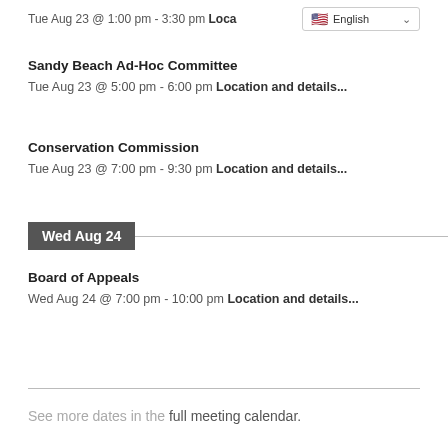Tue Aug 23 @ 1:00 pm - 3:30 pm Loca... English
Sandy Beach Ad-Hoc Committee
Tue Aug 23 @ 5:00 pm - 6:00 pm Location and details...
Conservation Commission
Tue Aug 23 @ 7:00 pm - 9:30 pm Location and details...
Wed Aug 24
Board of Appeals
Wed Aug 24 @ 7:00 pm - 10:00 pm Location and details...
See more dates in the full meeting calendar.